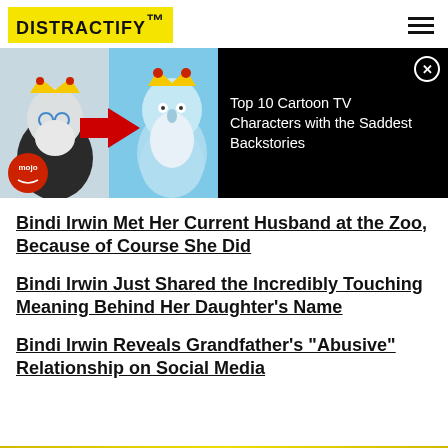DISTRACTIFY
[Figure (screenshot): Video thumbnail showing cartoon characters with crowns (Adventure Time style Ice King figures), with a red arrow pointing right, and a WatchMojo/mojo logo in bottom left. Black panel on right with text: Top 10 Cartoon TV Characters with the Saddest Backstories, and a close (X) button.]
Top 10 Cartoon TV Characters with the Saddest Backstories
Bindi Irwin Met Her Current Husband at the Zoo, Because of Course She Did
Bindi Irwin Just Shared the Incredibly Touching Meaning Behind Her Daughter's Name
Bindi Irwin Reveals Grandfather's "Abusive" Relationship on Social Media